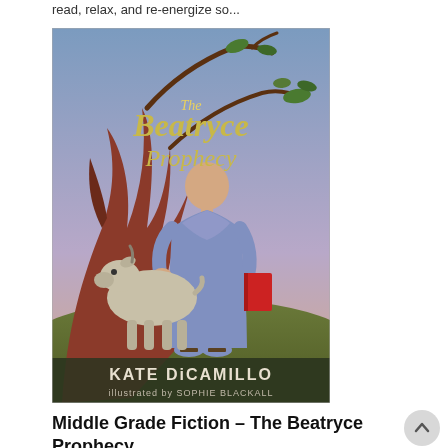read, relax, and re-energize so...
[Figure (illustration): Book cover of 'The Beatryce Prophecy' by Kate DiCamillo, illustrated by Sophie Blackall. Shows a young girl in a purple robe holding a red book, standing next to a goat by a large gnarled red tree with branches overhead, against a blue-purple sky.]
Middle Grade Fiction – The Beatryce Prophecy
THE BEATRYCE PROPHECY by Kate DiCamillo...